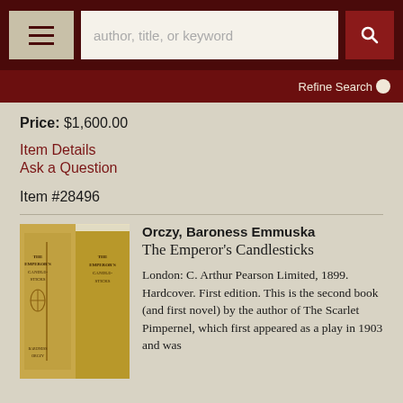author, title, or keyword | Refine Search
Price: $1,600.00
Item Details
Ask a Question
Item #28496
Orczy, Baroness Emmuska
The Emperor's Candlesticks
London: C. Arthur Pearson Limited, 1899. Hardcover. First edition. This is the second book (and first novel) by the author of The Scarlet Pimpernel, which first appeared as a play in 1903 and was
[Figure (photo): Book spine photograph showing 'The Emperor's Candlesticks' by Baroness Orczy, gold/tan colored hardcover]